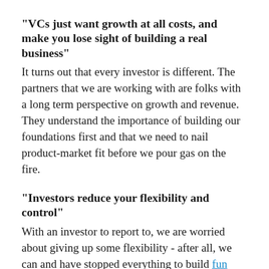"VCs just want growth at all costs, and make you lose sight of building a real business"
It turns out that every investor is different. The partners that we are working with are folks with a long term perspective on growth and revenue. They understand the importance of building our foundations first and that we need to nail product-market fit before we pour gas on the fire.
"Investors reduce your flexibility and control"
With an investor to report to, we are worried about giving up some flexibility - after all, we can and have stopped everything to build fun stunts that attract website traffic. But we're working with investors who support us and understand how much we value agility. They encourage us to take